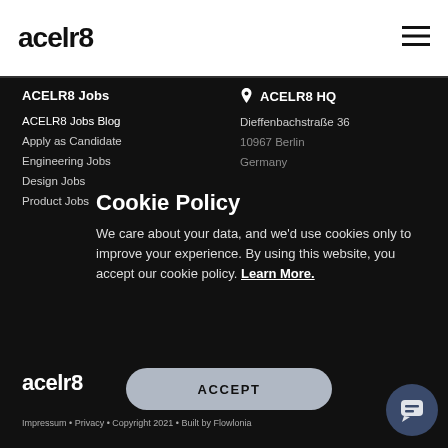acelr8
ACELR8 Jobs
ACELR8 HQ
ACELR8 Jobs Blog
Apply as Candidate
Engineering Jobs
Design Jobs
Product Jobs
Dieffenbachstraße 36
10967 Berlin
Germany
Cookie Policy
We care about your data, and we'd use cookies only to improve your experience. By using this website, you accept our cookie policy. Learn More.
ACCEPT
acelr8
Impressum • Privacy • Copyright 2021 • Built by Flowlonia